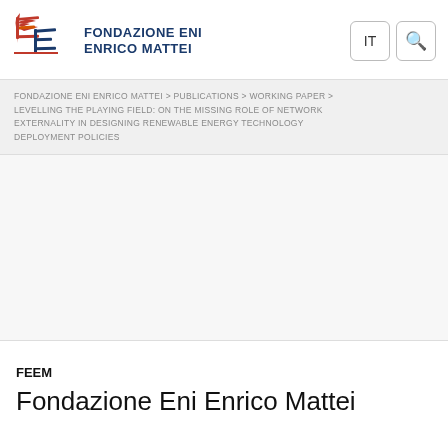[Figure (logo): Fondazione Eni Enrico Mattei (FEEM) logo with stylized EE letters in red/orange and blue, with organization name in dark blue small caps]
FONDAZIONE ENI ENRICO MATTEI > PUBLICATIONS > WORKING PAPER > LEVELLING THE PLAYING FIELD: ON THE MISSING ROLE OF NETWORK EXTERNALITY IN DESIGNING RENEWABLE ENERGY TECHNOLOGY DEPLOYMENT POLICIES
FEEM
Fondazione Eni Enrico Mattei